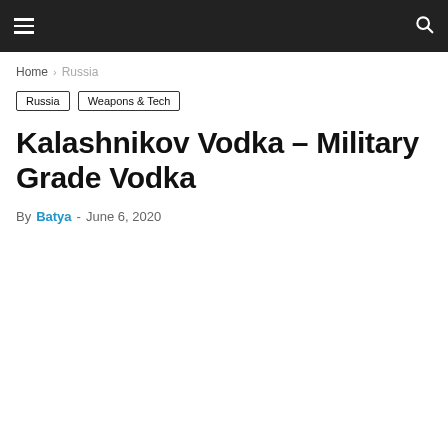≡  🔍
Home › Russia
Russia
Weapons & Tech
Kalashnikov Vodka – Military Grade Vodka
By Batya - June 6, 2020